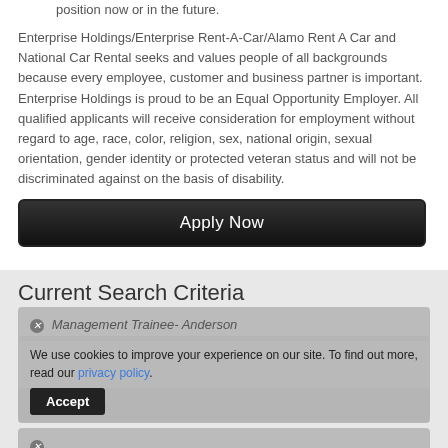position now or in the future.
Enterprise Holdings/Enterprise Rent-A-Car/Alamo Rent A Car and National Car Rental seeks and values people of all backgrounds because every employee, customer and business partner is important. Enterprise Holdings is proud to be an Equal Opportunity Employer. All qualified applicants will receive consideration for employment without regard to age, race, color, religion, sex, national origin, sexual orientation, gender identity or protected veteran status and will not be discriminated against on the basis of disability.
[Figure (screenshot): Apply Now button - dark rounded rectangle button with white text]
Current Search Criteria
We use cookies to improve your experience on our site. To find out more, read our privacy policy.
Management Trainee- Anderson
Anderson
Accept